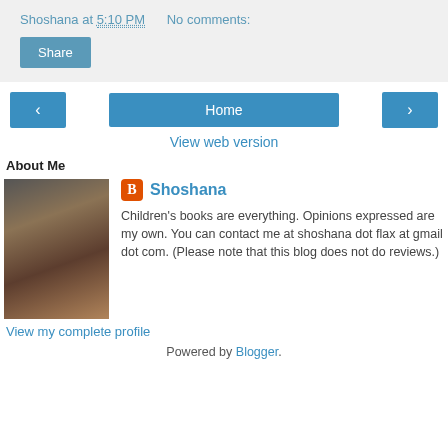Shoshana at 5:10 PM    No comments:
Share
‹    Home    ›
View web version
About Me
Shoshana
Children's books are everything. Opinions expressed are my own. You can contact me at shoshana dot flax at gmail dot com. (Please note that this blog does not do reviews.)
View my complete profile
Powered by Blogger.